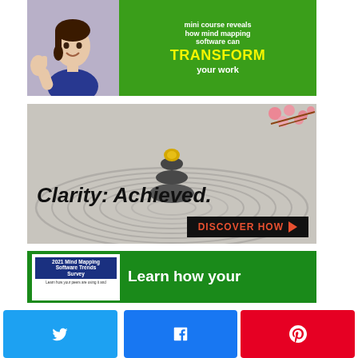[Figure (illustration): Advertisement banner with green background showing a woman giving thumbs up and text about mind mapping software that can TRANSFORM your work]
[Figure (illustration): Advertisement banner with zen garden stones and flowers, text reads 'Clarity: Achieved.' with a black button 'DISCOVER HOW' in red text with arrow]
[Figure (illustration): Advertisement banner with green background showing 2021 Mind Mapping Software Trends Survey card and text 'Learn how your']
[Figure (infographic): Social share buttons row: Twitter (light blue), Facebook (blue), Pinterest (red)]